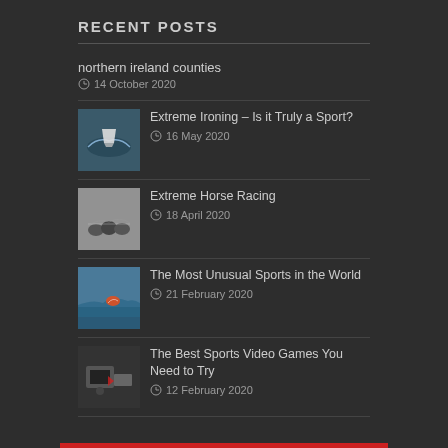RECENT POSTS
northern ireland counties
14 October 2020
Extreme Ironing – Is it Truly a Sport?
16 May 2020
Extreme Horse Racing
18 April 2020
The Most Unusual Sports in the World
21 February 2020
The Best Sports Video Games You Need to Try
12 February 2020